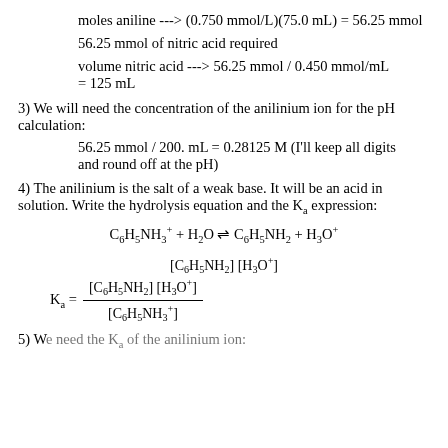moles aniline ---> (0.750 mmol/L)(75.0 mL) = 56.25 mmol
56.25 mmol of nitric acid required
volume nitric acid ---> 56.25 mmol / 0.450 mmol/mL = 125 mL
3) We will need the concentration of the anilinium ion for the pH calculation:
56.25 mmol / 200. mL = 0.28125 M (I'll keep all digits and round off at the pH)
4) The anilinium is the salt of a weak base. It will be an acid in solution. Write the hydrolysis equation and the Ka expression:
5) We need the Ka of the anilinium ion: